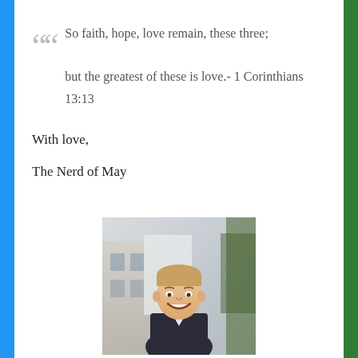So faith, hope, love remain, these three; but the greatest of these is love.- 1 Corinthians 13:13
With love,
The Nerd of May
[Figure (photo): A smiling young man with short blonde/reddish hair, wearing a dark suit, photographed outdoors with a building in the background.]